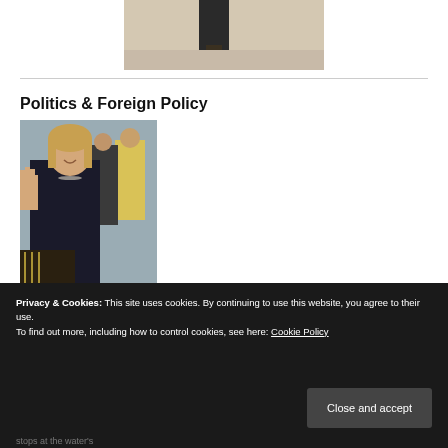[Figure (photo): Partial photo cropped at top of page, showing a person's feet/lower body]
Politics & Foreign Policy
[Figure (photo): Photo of Hillary Clinton waving, wearing a dark jacket, with people in background including someone in a yellow jacket]
Privacy & Cookies: This site uses cookies. By continuing to use this website, you agree to their use. To find out more, including how to control cookies, see here: Cookie Policy
Close and accept
stops at the water's